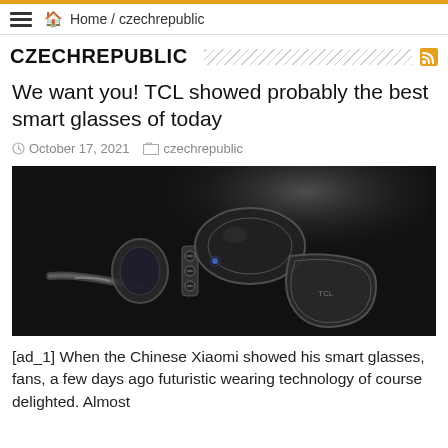Home / czechrepublic
CZECHREPUBLIC
We want you! TCL showed probably the best smart glasses of today
October 17, 2021   czechrepublic
[Figure (photo): Exploded view of TCL smart glasses components against a dark background]
[ad_1] When the Chinese Xiaomi showed his smart glasses, fans, a few days ago futuristic wearing technology of course delighted. Almost